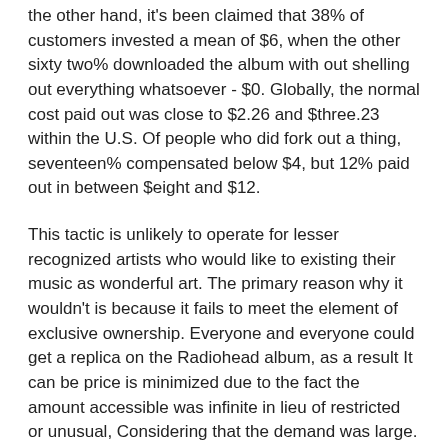the other hand, it's been claimed that 38% of customers invested a mean of $6, when the other sixty two% downloaded the album with out shelling out everything whatsoever - $0. Globally, the normal cost paid out was close to $2.26 and $three.23 within the U.S. Of people who did fork out a thing, seventeen% compensated below $4, but 12% paid out in between $eight and $12.
This tactic is unlikely to operate for lesser recognized artists who would like to existing their music as wonderful art. The primary reason why it wouldn't is because it fails to meet the element of exclusive ownership. Everyone and everyone could get a replica on the Radiohead album, as a result It can be price is minimized due to the fact the amount accessible was infinite in lieu of restricted or unusual, Considering that the demand was large.
NIN and also a Tiered Solution
Furthermore, tiered high-quality artwork new music offers